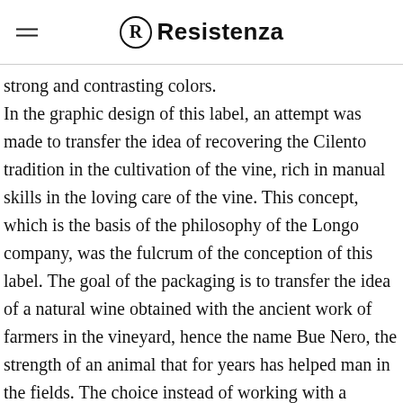Resistenza
strong and contrasting colors. In the graphic design of this label, an attempt was made to transfer the idea of recovering the Cilento tradition in the cultivation of the vine, rich in manual skills in the loving care of the vine. This concept, which is the basis of the philosophy of the Longo company, was the fulcrum of the conception of this label. The goal of the packaging is to transfer the idea of a natural wine obtained with the ancient work of farmers in the vineyard, hence the name Bue Nero, the strength of an animal that for years has helped man in the fields. The choice instead of working with a marble texture comes from the place where the IGT Paestum is produced which has more things to tell than others: where it comes from, how it is processed, the historical origins, the